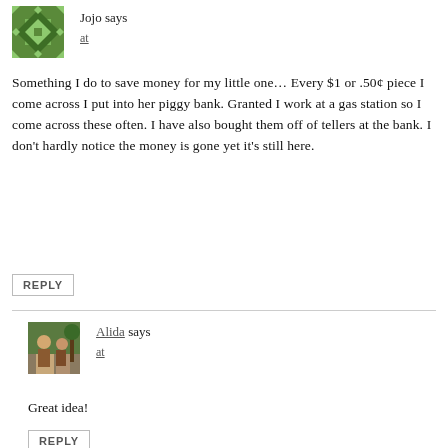[Figure (illustration): Green decorative avatar icon with diamond/quilt pattern for user Jojo]
Jojo says
at
Something I do to save money for my little one… Every $1 or .50¢ piece I come across I put into her piggy bank. Granted I work at a gas station so I come across these often. I have also bought them off of tellers at the bank. I don't hardly notice the money is gone yet it's still here.
REPLY
[Figure (photo): Outdoor photo of Alida, two people near trees]
Alida says
at
Great idea!
REPLY